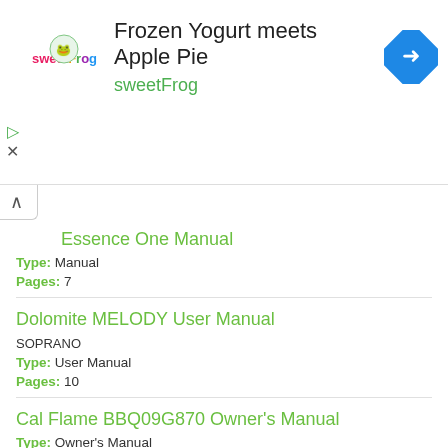[Figure (other): sweetFrog advertisement banner with logo, title 'Frozen Yogurt meets Apple Pie', brand name 'sweetFrog', and a blue direction sign icon]
Acus Essence One Manual
Type: Manual
Pages: 7
Dolomite MELODY User Manual
SOPRANO
Type: User Manual
Pages: 10
Cal Flame BBQ09G870 Owner's Manual
Type: Owner's Manual
Pages: 15